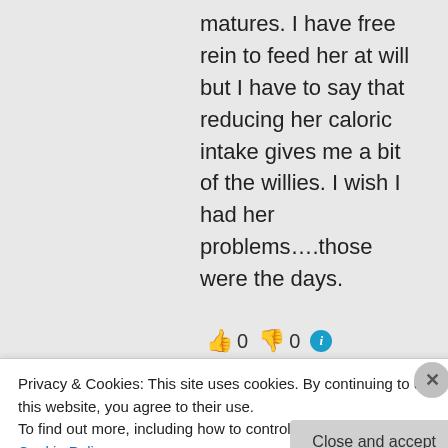matures. I have free rein to feed her at will but I have to say that reducing her caloric intake gives me a bit of the willies. I wish I had her problems….those were the days.
👍 0 👎 0 ℹ
Privacy & Cookies: This site uses cookies. By continuing to use this website, you agree to their use.
To find out more, including how to control cookies, see here: Cookie Policy
Close and accept